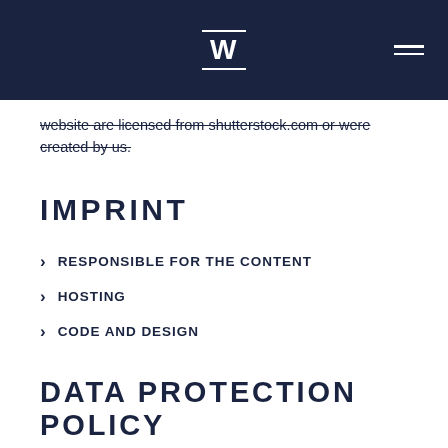W (logo with navigation bar)
website are licensed from shutterstock.com or were created by us.
IMPRINT
RESPONSIBLE FOR THE CONTENT
HOSTING
CODE AND DESIGN
DATA PROTECTION POLICY